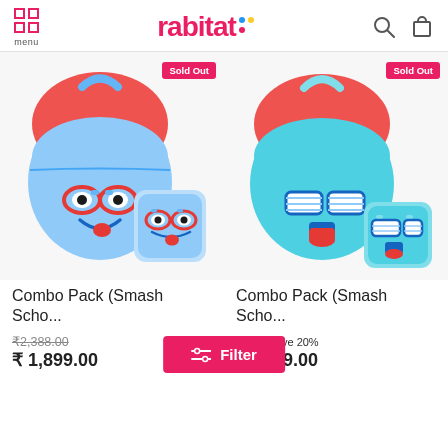rabitat — menu, search, cart icons
[Figure (photo): Combo Pack (Smash School) — blue kids backpack with red glasses face and matching lunch box, 'Sold Out' badge]
[Figure (photo): Combo Pack (Smash School) — teal kids backpack with sunglasses face and matching lunch box, 'Sold Out' badge]
Combo Pack (Smash Scho...
Combo Pack (Smash Scho...
₹2,388.00
₹1,899.00
₹3.00 (partially obscured)
₹1,899.00
save 20%
Filter